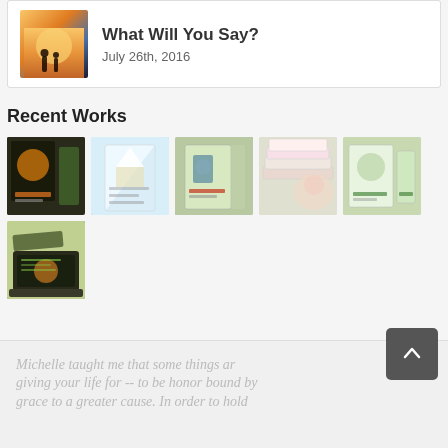[Figure (screenshot): Blog post card with thumbnail image showing two silhouettes at sunset, title 'What Will You Say?' and date 'July 26th, 2016']
What Will You Say?
July 26th, 2016
Recent Works
[Figure (photo): Grid of 6 book/product cover thumbnail images representing recent works]
Michelle taught me that some things are worth giving your life for -- to be honor bound by grace to a greater cause. In order to hold